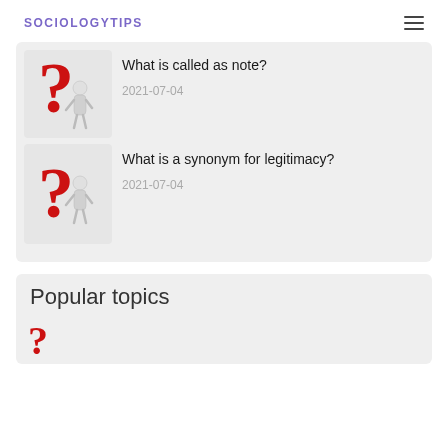SOCIOLOGYTIPS
[Figure (illustration): 3D figure of a person looking at a large red question mark]
What is called as note?
2021-07-04
[Figure (illustration): 3D figure of a person looking at a large red question mark]
What is a synonym for legitimacy?
2021-07-04
Popular topics
[Figure (illustration): 3D figure of a person looking at a large red question mark (partially visible)]